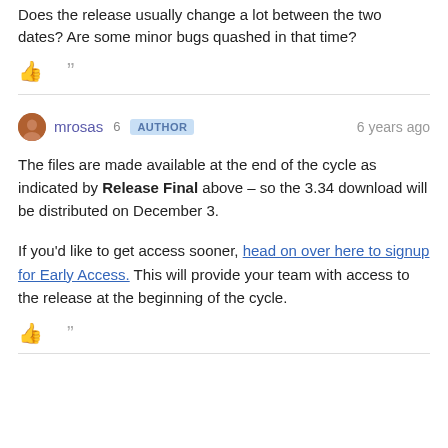Does the release usually change a lot between the two dates? Are some minor bugs quashed in that time?
mrosas 6 AUTHOR  6 years ago
The files are made available at the end of the cycle as indicated by Release Final above – so the 3.34 download will be distributed on December 3.
If you'd like to get access sooner, head on over here to signup for Early Access. This will provide your team with access to the release at the beginning of the cycle.